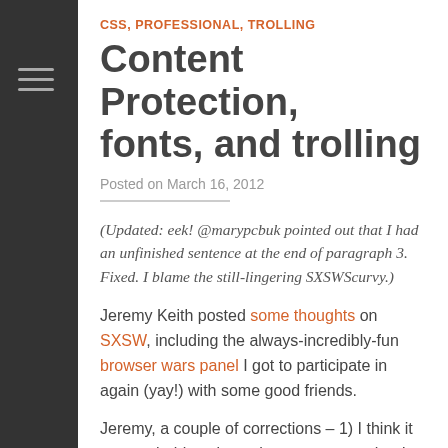CSS, PROFESSIONAL, TROLLING
Content Protection, fonts, and trolling
Posted on March 16, 2012
(Updated: eek!  @marypcbuk pointed out that I had an unfinished sentence at the end of paragraph 3.  Fixed.  I blame the still-lingering SXSWScurvy.)
Jeremy Keith posted some thoughts on SXSW, including the always-incredibly-fun browser wars panel I got to participate in again (yay!) with some good friends.
Jeremy, a couple of corrections – 1) I think it was probably at least three years ago that I was